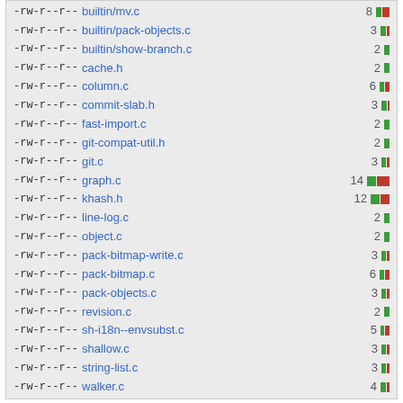-rw-r--r-- builtin/mv.c 8
-rw-r--r-- builtin/pack-objects.c 3
-rw-r--r-- builtin/show-branch.c 2
-rw-r--r-- cache.h 2
-rw-r--r-- column.c 6
-rw-r--r-- commit-slab.h 3
-rw-r--r-- fast-import.c 2
-rw-r--r-- git-compat-util.h 2
-rw-r--r-- git.c 3
-rw-r--r-- graph.c 14
-rw-r--r-- khash.h 12
-rw-r--r-- line-log.c 2
-rw-r--r-- object.c 2
-rw-r--r-- pack-bitmap-write.c 3
-rw-r--r-- pack-bitmap.c 6
-rw-r--r-- pack-objects.c 3
-rw-r--r-- revision.c 2
-rw-r--r-- sh-i18n--envsubst.c 5
-rw-r--r-- shallow.c 3
-rw-r--r-- string-list.c 3
-rw-r--r-- walker.c 4
28 files changed, 45 insertions, 70 deletions
diff --git a/Documentation/technical/api-allocation
index 542946b..5a59b54 100644